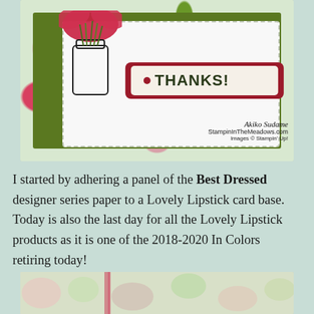[Figure (photo): A handmade greeting card featuring a floral designer series paper background with deep red/crimson flowers and green leaves. A white panel with dashed border sits on top of an olive green mat. A mason jar with flowers is partially visible. A dark red layered label displays 'THANKS!' text with a dot accent. Watermark reads 'Akiko Sudame / StampinInTheMeadows.com / Images © Stampin' Up!']
I started by adhering a panel of the Best Dressed designer series paper to a Lovely Lipstick card base. Today is also the last day for all the Lovely Lipstick products as it is one of the 2018-2020 In Colors retiring today!
[Figure (photo): Bottom portion of another handmade card showing floral designer paper with green and pink tones, partially cropped.]